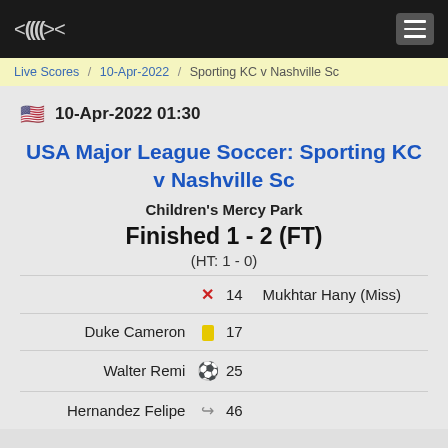<((((>< [logo] [menu]
Live Scores / 10-Apr-2022 / Sporting KC v Nashville Sc
10-Apr-2022 01:30
USA Major League Soccer: Sporting KC v Nashville Sc
Children's Mercy Park
Finished 1 - 2 (FT)
(HT: 1 - 0)
| Home | Icon | Min | Away |
| --- | --- | --- | --- |
|  | × | 14 | Mukhtar Hany (Miss) |
| Duke Cameron | yellow card | 17 |  |
| Walter Remi | ball | 25 |  |
| Hernandez Felipe | sub | 46 |  |